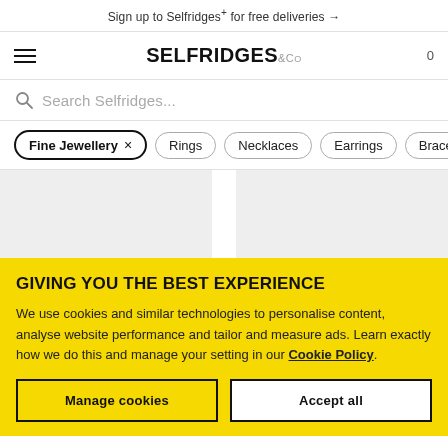Sign up to Selfridges+ for free deliveries →
[Figure (logo): Selfridges & Co logo with hamburger menu icon on left and cart count 0 on right]
Search Selfridges...
Fine Jewellery × Rings Necklaces Earrings Bracel...
[Figure (photo): Two light grey product image placeholder cards in a grid layout]
GIVING YOU THE BEST EXPERIENCE
We use cookies and similar technologies to personalise content, analyse website performance and tailor and measure ads. Learn exactly how we do this and manage your setting in our Cookie Policy.
Manage cookies
Accept all